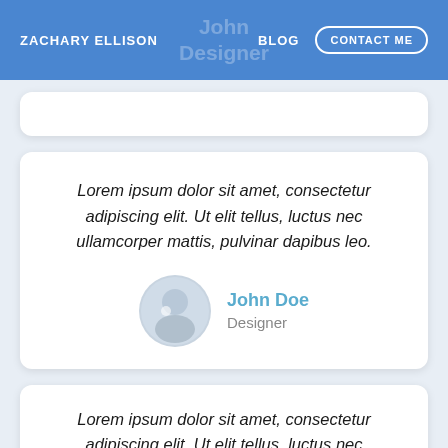ZACHARY ELLISON | BLOG | CONTACT ME
Lorem ipsum dolor sit amet, consectetur adipiscing elit. Ut elit tellus, luctus nec ullamcorper mattis, pulvinar dapibus leo.
John Doe — Designer
Lorem ipsum dolor sit amet, consectetur adipiscing elit. Ut elit tellus, luctus nec